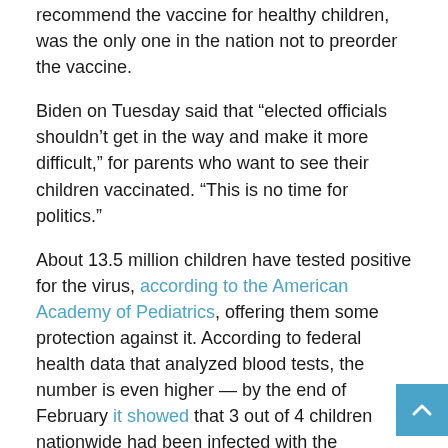recommend the vaccine for healthy children, was the only one in the nation not to preorder the vaccine.
Biden on Tuesday said that “elected officials shouldn’t get in the way and make it more difficult,” for parents who want to see their children vaccinated. “This is no time for politics.”
About 13.5 million children have tested positive for the virus, according to the American Academy of Pediatrics, offering them some protection against it. According to federal health data that analyzed blood tests, the number is even higher — by the end of February it showed that 3 out of 4 children nationwide had been infected with the coronavirus.
Tracking coronavirus cases
But health authorities say all children should be vaccinated, because it is the best way to provide children with durable